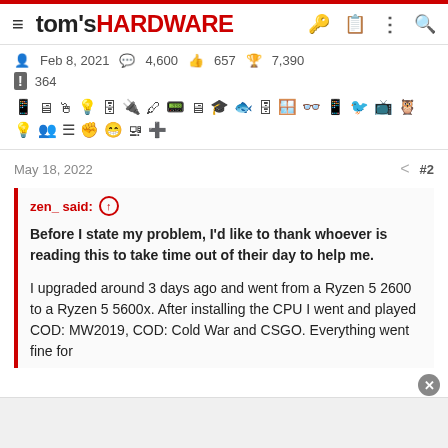tom's HARDWARE
Feb 8, 2021   4,600   657   7,390
364
May 18, 2022   #2
zen_ said: ↑

Before I state my problem, I'd like to thank whoever is reading this to take time out of their day to help me.

I upgraded around 3 days ago and went from a Ryzen 5 2600 to a Ryzen 5 5600x. After installing the CPU I went and played COD: MW2019, COD: Cold War and CSGO. Everything went fine for